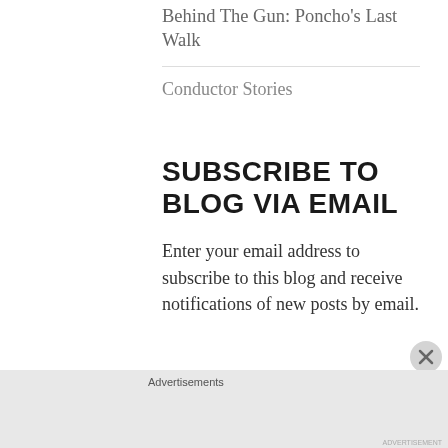Behind The Gun: Poncho's Last Walk
Conductor Stories
SUBSCRIBE TO BLOG VIA EMAIL
Enter your email address to subscribe to this blog and receive notifications of new posts by email.
Advertisements
[Figure (infographic): Jetpack advertisement banner with green background, Jetpack logo on left and 'Secure Your Site' button on right]